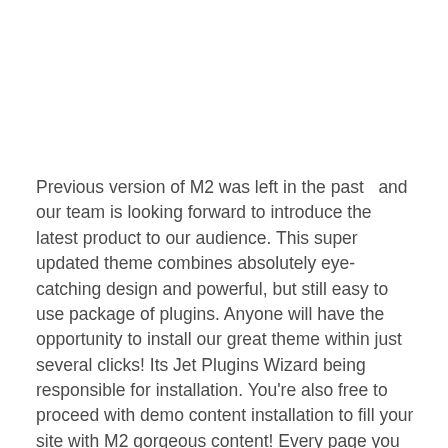Previous version of M2 was left in the past  and our team is looking forward to introduce the latest product to our audience. This super updated theme combines absolutely eye-catching design and powerful, but still easy to use package of plugins. Anyone will have the opportunity to install our great theme within just several clicks! Its Jet Plugins Wizard being responsible for installation. You're also free to proceed with demo content installation to fill your site with M2 gorgeous content! Every page you installed can be edited, customized and saves as a template and then imported as a json file. M2 comes with a brilliant Magic Button – a kind of a library containing pre-designed pages and sections, which can be embedded to your